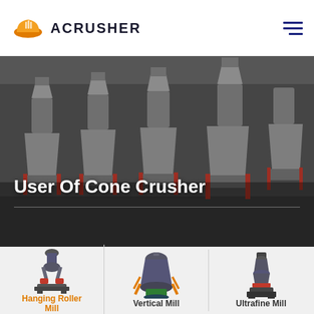ACRUSHER
[Figure (photo): Industrial factory floor with rows of large cone crusher machines in grey/white color with red hydraulic cylinders, photographed inside a manufacturing facility.]
User Of Cone Crusher
[Figure (photo): Hanging Roller Mill machine — a compact vertical grinding mill with red accent pieces at the base.]
Hanging Roller Mill
[Figure (photo): Vertical Mill machine — a large dark grey conical vertical grinding mill with orange support struts.]
Vertical Mill
[Figure (photo): Ultrafine Mill machine — a compact vertical grinding mill with red accent pieces.]
Ultrafine Mill